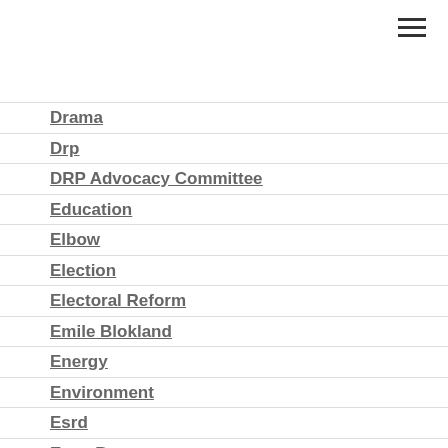Drama
Drp
DRP Advocacy Committee
Education
Elbow
Election
Electoral Reform
Emile Blokland
Energy
Environment
Esrd
Evan Berger
Exshaw
Federal
Festival
Fine Arts
Flood